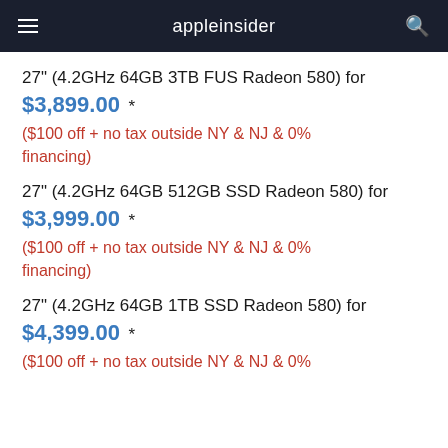appleinsider
27" (4.2GHz 64GB 3TB FUS Radeon 580) for $3,899.00 *
($100 off + no tax outside NY & NJ & 0% financing)
27" (4.2GHz 64GB 512GB SSD Radeon 580) for $3,999.00 *
($100 off + no tax outside NY & NJ & 0% financing)
27" (4.2GHz 64GB 1TB SSD Radeon 580) for $4,399.00 *
($100 off + no tax outside NY & NJ & 0%